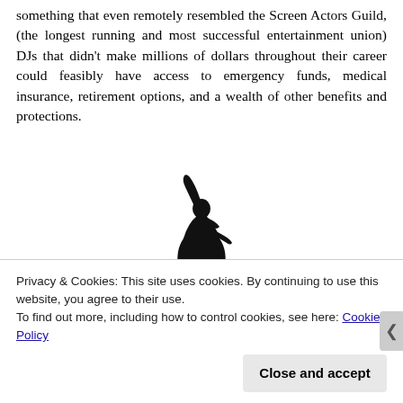something that even remotely resembled the Screen Actors Guild, (the longest running and most successful entertainment union) DJs that didn't make millions of dollars throughout their career could feasibly have access to emergency funds, medical insurance, retirement options, and a wealth of other benefits and protections.
[Figure (logo): Screen Actors Guild logo — stylized figure of a person with one arm raised]
Privacy & Cookies: This site uses cookies. By continuing to use this website, you agree to their use. To find out more, including how to control cookies, see here: Cookie Policy